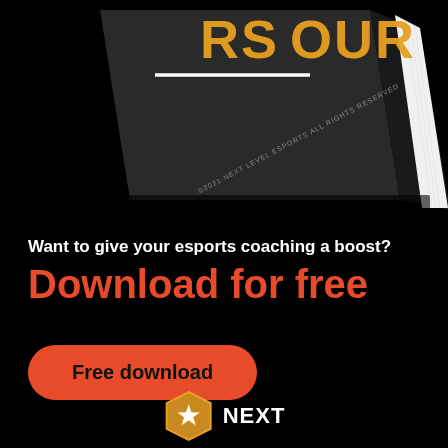[Figure (illustration): A dark-covered book with partial text visible on the cover reading 'RS' and 'OUR', and small text on the spine reading '©2021 NEXT LEVEL ESPORTS ALL RIGHTS RESERVED'. The book is shown at an angle with white pages visible on the right side.]
Want to give your esports coaching a boost?
Download for free
Free download
[Figure (logo): Next Level Esports logo: a hexagonal badge with a star in the center, in orange/gold color, with 'NEXT' text in bold white to the right.]